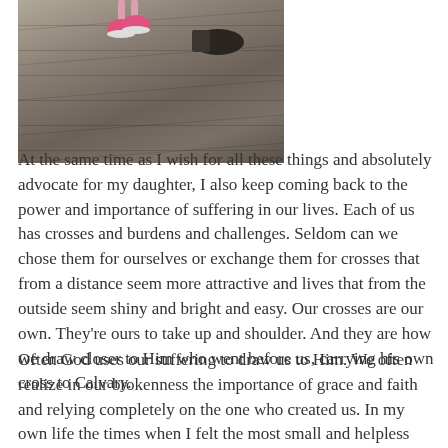[Figure (photo): Photo of a young child's pink sneakers and an adult's dark shoe on wooden deck steps/planks, viewed from above.]
At the same time as I wish for all these things and absolutely advocate for my daughter, I also keep coming back to the power and importance of suffering in our lives.  Each of us has crosses and burdens and challenges.  Seldom can we chose them for ourselves or exchange them for crosses that from a distance seem more attractive and lives that from the outside seem shiny and bright and easy.  Our crosses are our own.  They're ours to take up and shoulder.  And they are how we draw closer to Him who went before us, carrying his own cross to Calvary.
Often God uses our suffering to draw us to Him.  We often realize in our brokenness the importance of grace and faith and relying completely on the one who created us.  In my own life the times when I felt the most small and helpless were the times when I also most strongly felt the presence of God in our life...